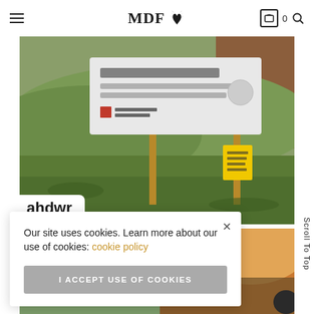MDF [logo] — navigation bar with hamburger menu, cart icon (0), and search icon
[Figure (photo): Outdoor photo showing a Wildlife Management Area sign on wooden posts with green grassy hillside in background. Yellow notice posted on one post. Utah Division of Wildlife Resources branding visible on sign. White badge in bottom-left corner reads 'ahdwr'.]
[Figure (photo): Partially visible second row of photos showing a sunset/sunrise sky with orange and cloud tones, and what appears to be a person with a camera.]
Our site uses cookies. Learn more about our use of cookies: cookie policy
I ACCEPT USE OF COOKIES
Scroll To Top